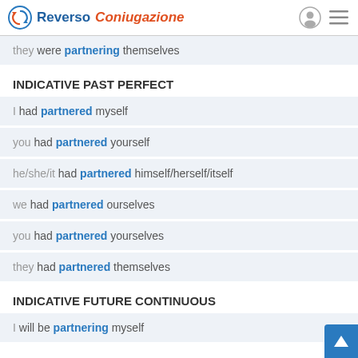Reverso Coniugazione
they were partnering themselves
INDICATIVE PAST PERFECT
I had partnered myself
you had partnered yourself
he/she/it had partnered himself/herself/itself
we had partnered ourselves
you had partnered yourselves
they had partnered themselves
INDICATIVE FUTURE CONTINUOUS
I will be partnering myself